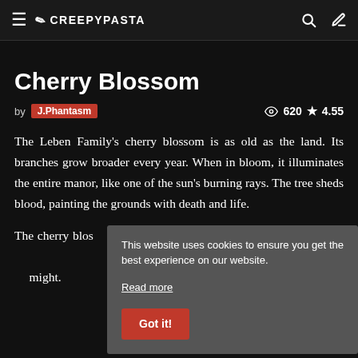≡ ✒ CREEPYPASTA
Cherry Blossom
by J.Phantasm   👁 620 ★ 4.55
The Leben Family's cherry blossom is as old as the land. Its branches grow broader every year. When in bloom, it illuminates the entire manor, like one of the sun's burning rays. The tree sheds blood, painting the grounds with death and life.
The cherry blos... Vatican is to Ro... dormant volcan... might.
This website uses cookies to ensure you get the best experience on our website. Read more  Got it!
***